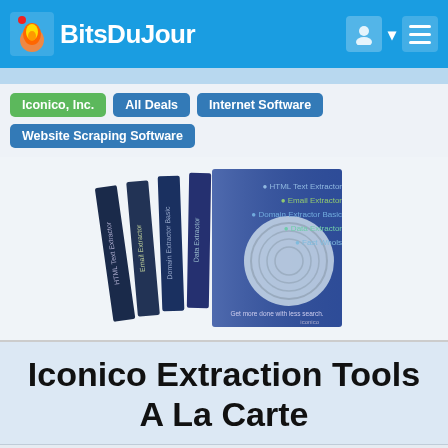BitsDuJour
Iconico, Inc.
All Deals
Internet Software
Website Scraping Software
[Figure (photo): Stack of software product boxes including HTML Text Extractor, Email Extractor, Domain Extractor Basic, Data Extractor, and Fast Whols]
Iconico Extraction Tools A La Carte
$9.50
BUY NOW